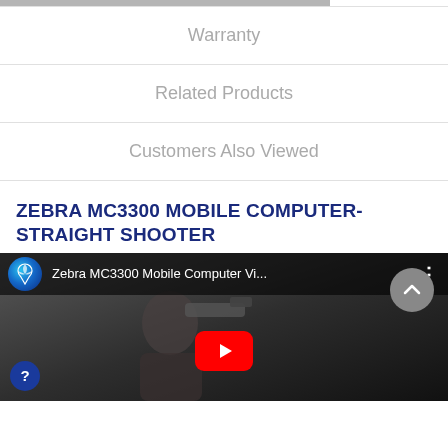Warranty
Related Products
Customers Also Viewed
ZEBRA MC3300 MOBILE COMPUTER-STRAIGHT SHOOTER
[Figure (screenshot): YouTube video thumbnail showing a man holding a Zebra MC3300 mobile computer/barcode scanner. Video title reads 'Zebra MC3300 Mobile Computer Vi...' with a YouTube play button overlay and channel logo.]